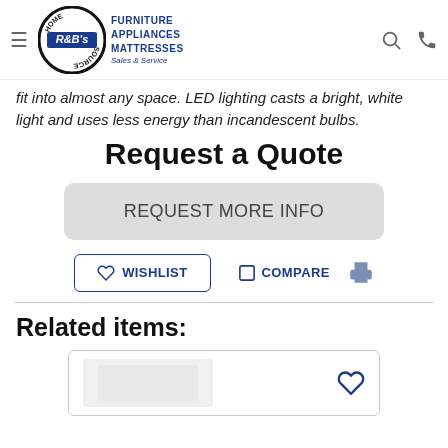R&B's Home Source – Furniture Appliances Mattresses Sales & Service
fit into almost any space. LED lighting casts a bright, white light and uses less energy than incandescent bulbs.
Request a Quote
REQUEST MORE INFO
WISHLIST   COMPARE
Related items:
[Figure (other): Product card thumbnail with wishlist heart icon]